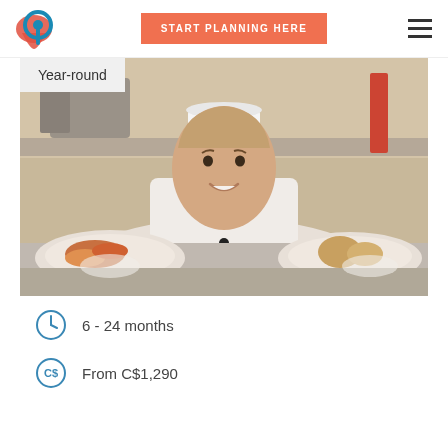START PLANNING HERE
Year-round
[Figure (photo): Smiling female chef in white uniform and hat presenting two plates of food in a professional kitchen]
6 - 24 months
From C$1,290
HOSPITALITY INTERNSHIPS